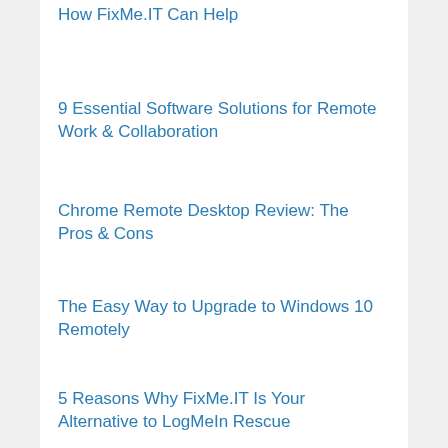How FixMe.IT Can Help
9 Essential Software Solutions for Remote Work & Collaboration
Chrome Remote Desktop Review: The Pros & Cons
The Easy Way to Upgrade to Windows 10 Remotely
5 Reasons Why FixMe.IT Is Your Alternative to LogMeIn Rescue
5 Tips to Organize Remote IT Support for Your Small Business